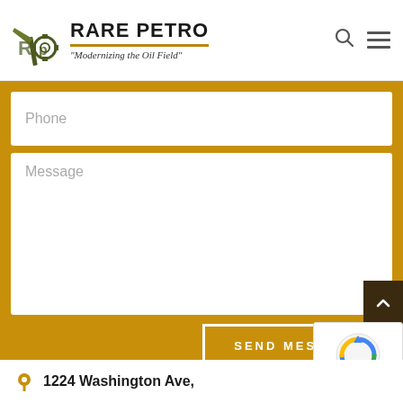[Figure (logo): Rare Petro logo with pickaxe and gear icon, company name 'RARE PETRO' in bold, tagline 'Modernizing the Oil Field' in italic, gold underline]
Phone
Message
SEND MESSAGE
1224 Washington Ave,